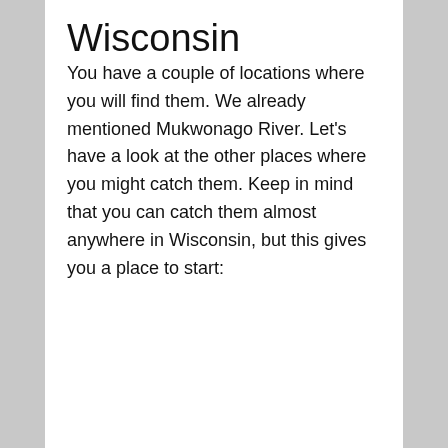Wisconsin
You have a couple of locations where you will find them. We already mentioned Mukwonago River. Let's have a look at the other places where you might catch them. Keep in mind that you can catch them almost anywhere in Wisconsin, but this gives you a place to start: